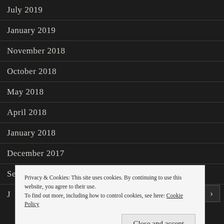July 2019
January 2019
November 2018
October 2018
May 2018
April 2018
January 2018
December 2017
September 2017
Privacy & Cookies: This site uses cookies. By continuing to use this website, you agree to their use.
To find out more, including how to control cookies, see here: Cookie Policy
Close and accept